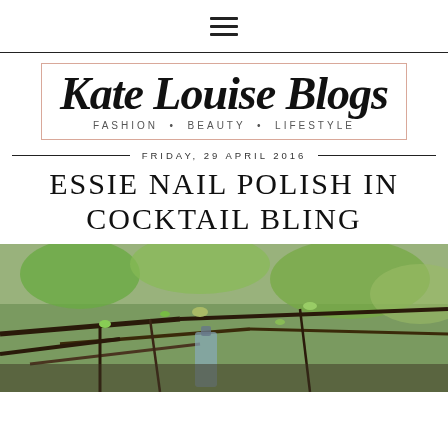≡
[Figure (logo): Kate Louise Blogs logo with decorative pink-salmon border box, script font title, and tagline FASHION • BEAUTY • LIFESTYLE]
FRIDAY, 29 APRIL 2016
ESSIE NAIL POLISH IN COCKTAIL BLING
[Figure (photo): Outdoor garden photo showing nail polish bottle (Essie Cocktail Bling) resting among dark twigs and green plant shoots/leaves with blurred background]